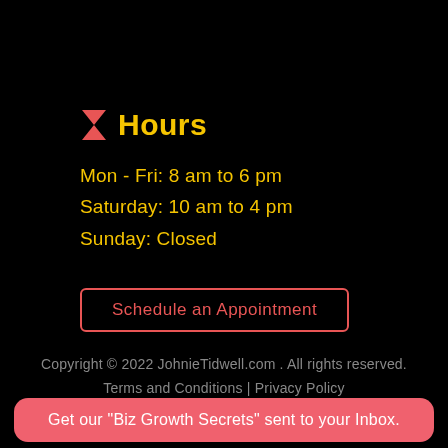Hours
Mon - Fri: 8 am to 6 pm
Saturday: 10 am to 4 pm
Sunday: Closed
Schedule an Appointment
Copyright © 2022 JohnieTidwell.com . All rights reserved.
Terms and Conditions | Privacy Policy
Get our "Biz Growth Secrets" sent to your Inbox.